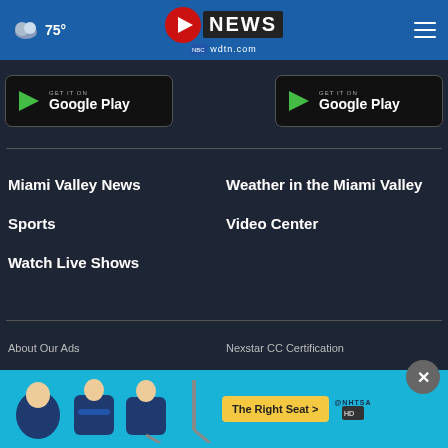75° — WDTN 2 News wdtn.com
[Figure (screenshot): Google Play store button (left)]
[Figure (screenshot): Google Play store button (right)]
Miami Valley News
Weather in the Miami Valley
Sports
Video Center
Watch Live Shows
About Our Ads
Nexstar CC Certification
WDTN P
[Figure (screenshot): NHTSA The Right Seat advertisement banner with child car seat icons]